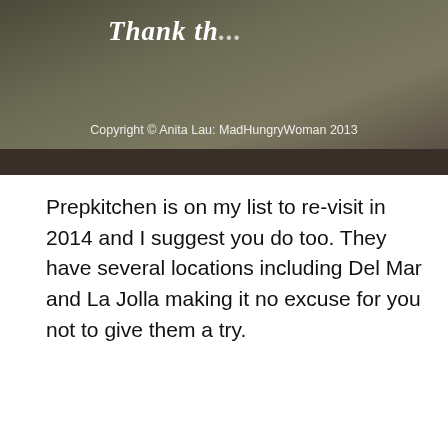[Figure (photo): Photo of a restaurant receipt or sign with 'Thank th...' text visible, dark background. Copyright notice reads: Copyright © Anita Lau: MadHungryWoman 2013]
Prepkitchen is on my list to re-visit in 2014 and I suggest you do too. They have several locations including Del Mar and La Jolla making it no excuse for you not to give them a try.
Prepkitchen (Little Italy)
1660 India Street
San Diego, CA 92101
Tel: 619-398-8383
[Figure (photo): Partial image of Prep Kitchen with caption 'Prep Kitchen on']